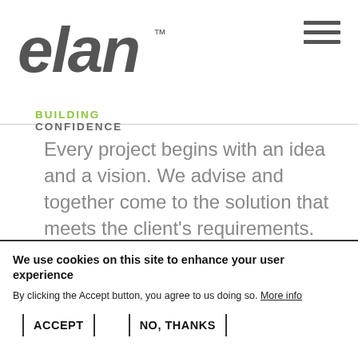[Figure (logo): Elan company logo in dark gray italic sans-serif font with TM mark, and tagline BUILDING CONFIDENCE below]
Every project begins with an idea and a vision. We advise and together come to the solution that meets the client's requirements.
We use cookies on this site to enhance your user experience
By clicking the Accept button, you agree to us doing so. More info
ACCEPT | NO, THANKS